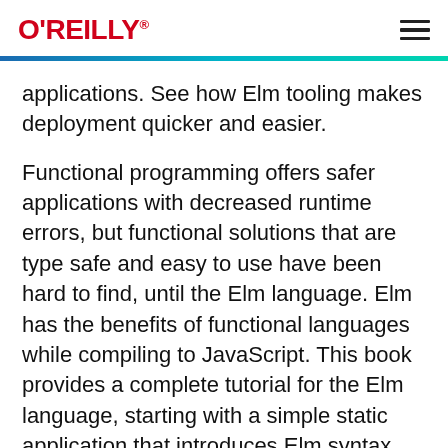O'REILLY
applications. See how Elm tooling makes deployment quicker and easier.
Functional programming offers safer applications with decreased runtime errors, but functional solutions that are type safe and easy to use have been hard to find, until the Elm language. Elm has the benefits of functional languages while compiling to JavaScript. This book provides a complete tutorial for the Elm language, starting with a simple static application that introduces Elm syntax, modules, and the virtual DOM, to